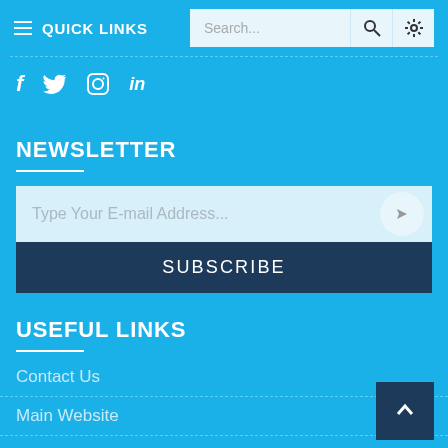QUICK LINKS | Search...
f  Twitter  Instagram  in
NEWSLETTER
Type Your E-mail Address...
SUBSCRIBE
USEFUL LINKS
Contact Us
Main Website